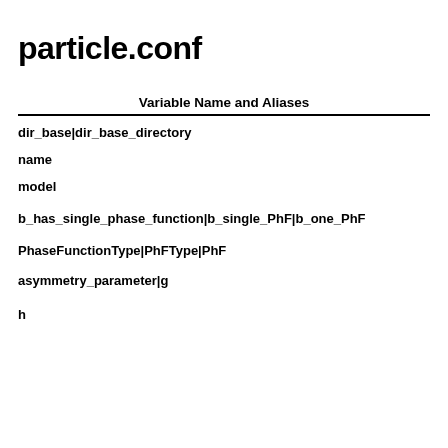particle.conf
| Variable Name and Aliases |
| --- |
| dir_base|dir_base_directory |
| name |
| model |
| b_has_single_phase_function|b_single_PhF|b_one_PhF |
| PhaseFunctionType|PhFType|PhF |
| asymmetry_parameter|g |
| h |
|  |